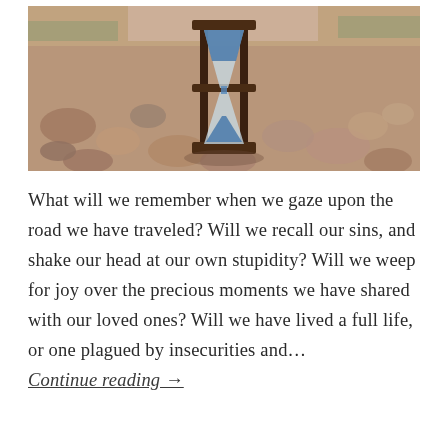[Figure (photo): Photograph of an hourglass with blue sand standing among small pebbles and rocks outdoors, with blurred background showing greenery and sky.]
What will we remember when we gaze upon the road we have traveled? Will we recall our sins, and shake our head at our own stupidity? Will we weep for joy over the precious moments we have shared with our loved ones? Will we have lived a full life, or one plagued by insecurities and… Continue reading →